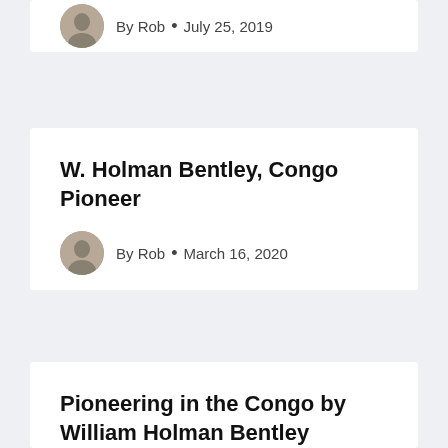By Rob • July 25, 2019
W. Holman Bentley, Congo Pioneer
By Rob • March 16, 2020
Pioneering in the Congo by William Holman Bentley
By Rob • January 20, 2020